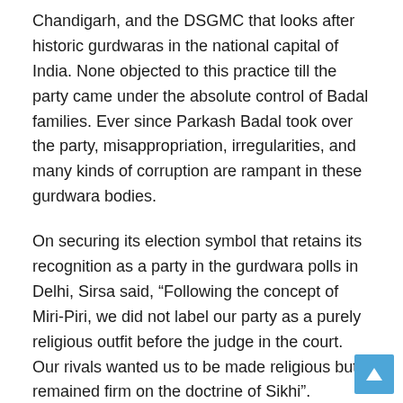Chandigarh, and the DSGMC that looks after historic gurdwaras in the national capital of India. None objected to this practice till the party came under the absolute control of Badal families. Ever since Parkash Badal took over the party, misappropriation, irregularities, and many kinds of corruption are rampant in these gurdwara bodies.
On securing its election symbol that retains its recognition as a party in the gurdwara polls in Delhi, Sirsa said, “Following the concept of Miri-Piri, we did not label our party as a purely religious outfit before the judge in the court. Our rivals wanted us to be made religious but remained firm on the doctrine of Sikhi”.
However, prolonged control of the Badals-led SAD has brought many evils in the gurdwara management. Through the SGPC and DSGMC, Badals also took control of the common assets